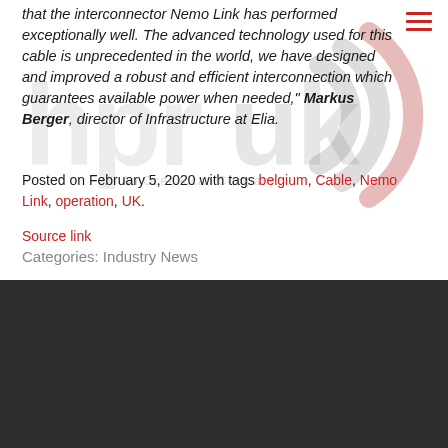that the interconnector Nemo Link has performed exceptionally well. The advanced technology used for this cable is unprecedented in the world, we have designed and improved a robust and efficient interconnection which guarantees available power when needed," Markus Berger, director of Infrastructure at Elia.
Posted on February 5, 2020 with tags belgium, Cable, Nemo Link, operation, UK.
Source link
Categories: Industry News
[Figure (logo): hpruk logo watermark in top section]
[Figure (logo): hpruk logo in dark footer section — An Oceandcan Company]